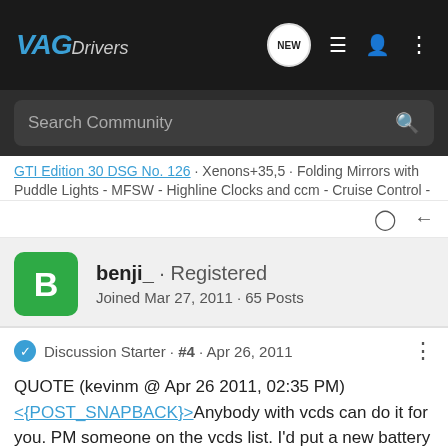VAG Drivers
Search Community
GTI Edition 30 DSG No. 126 · Xenons+35,5 · Folding Mirrors with Puddle Lights - MFSW - Highline Clocks and ccm - Cruise Control -
benji_ · Registered
Joined Mar 27, 2011 · 65 Posts
Discussion Starter · #4 · Apr 26, 2011
QUOTE (kevinm @ Apr 26 2011, 02:35 PM)
<{POST_SNAPBACK}>Anybody with vcds can do it for you. PM someone on the vcds list. I'd put a new battery in just in case.

The remotes can be gotten for a lot less than that. Post back